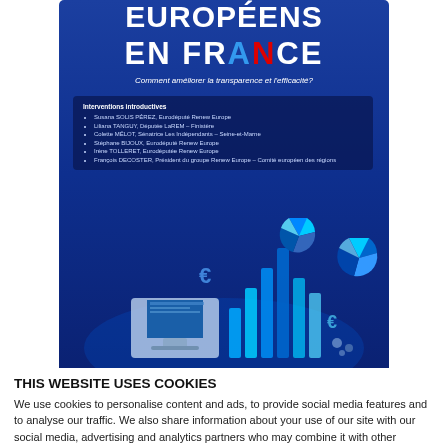[Figure (infographic): Blue poster for a Renew Europe event titled 'EUROPÉENS EN FRANCE – Comment améliorer la transparence et l'efficacité?' with a list of speakers and a graphic of a computer screen with financial charts and euro symbols.]
On November 20, 20020, a Renew Europe seminar on the efficiency and communication of EU funds in
THIS WEBSITE USES COOKIES
We use cookies to personalise content and ads, to provide social media features and to analyse our traffic. We also share information about your use of our site with our social media, advertising and analytics partners who may combine it with other information that you've provided to them or that they've